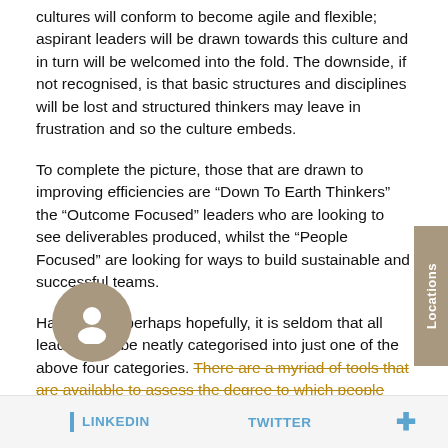cultures will conform to become agile and flexible; aspirant leaders will be drawn towards this culture and in turn will be welcomed into the fold. The downside, if not recognised, is that basic structures and disciplines will be lost and structured thinkers may leave in frustration and so the culture embeds.
To complete the picture, those that are drawn to improving efficiencies are "Down To Earth Thinkers" the "Outcome Focused" leaders who are looking to see deliverables produced, whilst the "People Focused" are looking for ways to build sustainable and successful teams.
Happily, and perhaps hopefully, it is seldom that all leaders can be neatly categorised into just one of the above four categories. There are a myriad of tools that are available to assess the degree to which people demonstrate each of these personality types (as well as their propensity to change). These can be most useful in making leaders aware of the
LINKEDIN   TWITTER